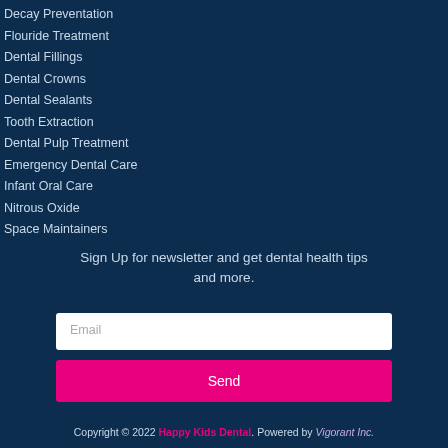Decay Preventation
Flouride Treatment
Dental Fillings
Dental Crowns
Dental Sealants
Tooth Extraction
Dental Pulp Treatment
Emergency Dental Care
Infant Oral Care
Nitrous Oxide
Space Maintainers
Sign Up for newsletter and get dental health tips and more.
Email
Send
Copyright © 2022 Happy Kids Dental. Powered by Vigorant Inc.